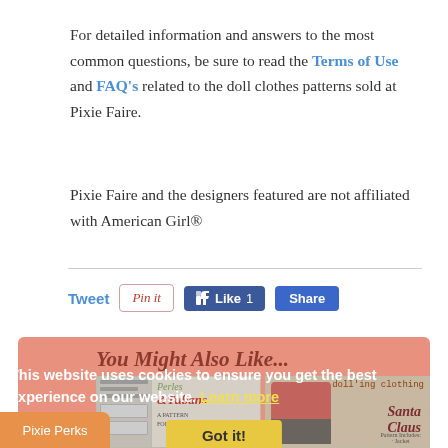For detailed information and answers to the most common questions, be sure to read the Terms of Use and FAQ's related to the doll clothes patterns sold at Pixie Faire.
Pixie Faire and the designers featured are not affiliated with American Girl®
[Figure (screenshot): Social sharing buttons: Tweet link, Pin it button, Like 1 button, Share button]
You Might Also Like...
[Figure (screenshot): Two product thumbnails: Perles & Tubans pattern on left, Santa Claus doll clothing pattern on right, with cookie consent banner overlaid]
This website uses cookies to ensure you get the best experience on our website. Learn more
Got it!
Pixie Perks